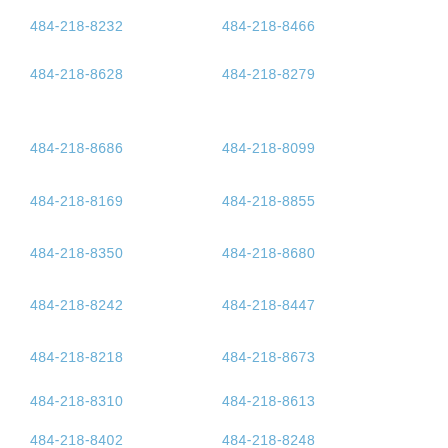484-218-8232
484-218-8466
484-218-8628
484-218-8279
484-218-8686
484-218-8099
484-218-8169
484-218-8855
484-218-8350
484-218-8680
484-218-8242
484-218-8447
484-218-8218
484-218-8673
484-218-8310
484-218-8613
484-218-8402
484-218-8248